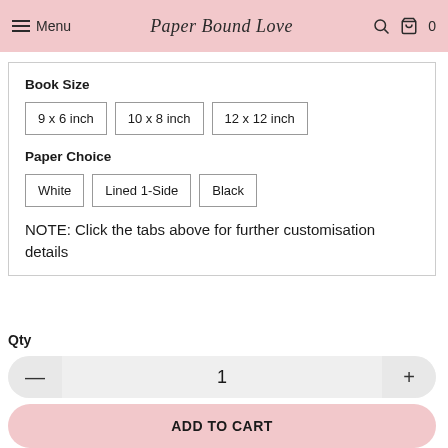Menu | Paper Bound Love | Search | Cart 0
Book Size
9 x 6 inch | 10 x 8 inch | 12 x 12 inch
Paper Choice
White | Lined 1-Side | Black
NOTE: Click the tabs above for further customisation details
Qty
1
ADD TO CART